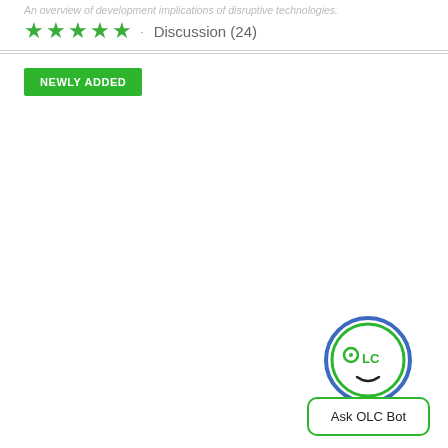An overview of development implications of disruptive technologies.
★★★★★ · Discussion (24)
NEWLY ADDED
[Figure (illustration): OLC Bot logo: a circular face with blue outer ring and green inner ring, with circular eyes spelling OLC, a small nose dot, and a curved smile. Below it is a button labeled 'Ask OLC Bot'.]